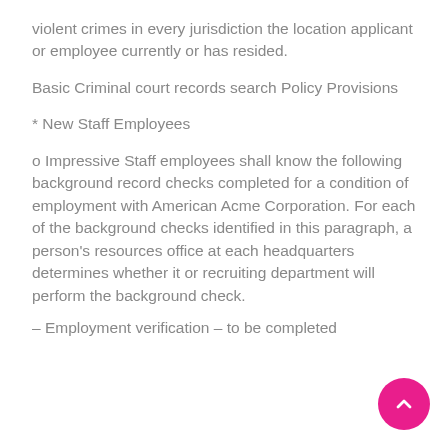violent crimes in every jurisdiction the location applicant or employee currently or has resided.
Basic Criminal court records search Policy Provisions
* New Staff Employees
o Impressive Staff employees shall know the following background record checks completed for a condition of employment with American Acme Corporation. For each of the background checks identified in this paragraph, a person’s resources office at each headquarters determines whether it or recruiting department will perform the background check.
– Employment verification – to be completed